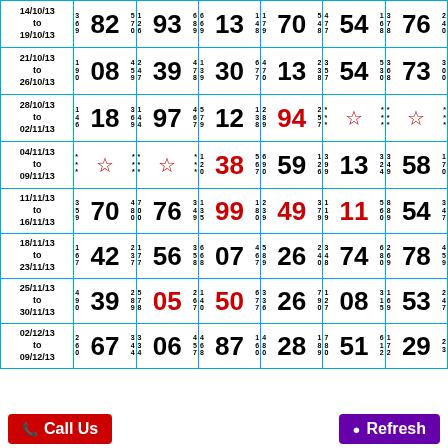| Date | Num1 | Num2 | Num3 | Num4 | Num5 | Num6 | Num7 |
| --- | --- | --- | --- | --- | --- | --- | --- |
| 14/10/13 to 19/10/13 | 82 | 93 | 13 | 70 | 54 | 76 |  |
| 21/10/13 to 26/10/13 | 08 | 39 | 30 | 13 | 54 | 73 |  |
| 28/10/13 to 02/11/13 | 18 | 97 | 12 | 94 | ☆ | ☆ |  |
| 04/11/13 to 09/11/13 | ☆ | ☆ | 38 | 59 | 13 | 58 |  |
| 11/11/13 to 16/11/13 | 70 | 76 | 99 | 49 | 11 | 54 |  |
| 18/11/13 to 23/11/13 | 42 | 56 | 07 | 26 | 74 | 78 |  |
| 25/11/13 to 30/11/13 | 39 | 05 | 50 | 26 | 08 | 53 |  |
| 02/12/13 to 09/12/13 | 67 | 06 | 87 | 28 | 51 | 29 |  |
Call Us   Refresh